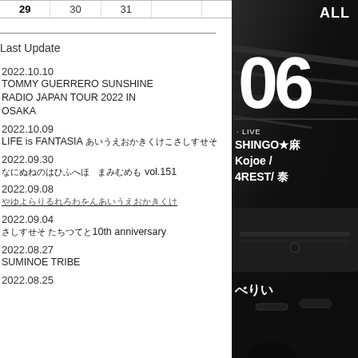| 29 | 30 | 31 |  |  |  |  |
| --- | --- | --- | --- | --- | --- | --- |
Last Update
2022.10.10
TOMMY GUERRERO SUNSHINE RADIO JAPAN TOUR 2022 IN OSAKA
2022.10.09
LIFE is FANTASIA
2022.09.30
vol.151
2022.09.08
2022.09.04
10th anniversary
2022.08.27
SUMINOE TRIBE
2022.08.25
[Figure (photo): Black and white event poster showing large '06' text, 'ALL' text in top right, artist names: SHINGO★, Kojoe /, 4REST/ 泰, and Japanese text べりい at bottom. Dark marble background with a vehicle silhouette.]